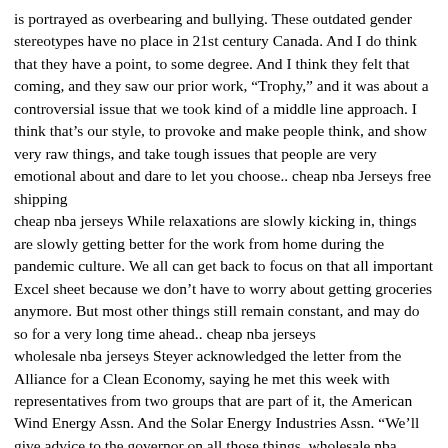is portrayed as overbearing and bullying. These outdated gender stereotypes have no place in 21st century Canada. And I do think that they have a point, to some degree. And I think they felt that coming, and they saw our prior work, “Trophy,” and it was about a controversial issue that we took kind of a middle line approach. I think that’s our style, to provoke and make people think, and show very raw things, and take tough issues that people are very emotional about and dare to let you choose.. cheap nba Jerseys free shipping
cheap nba jerseys While relaxations are slowly kicking in, things are slowly getting better for the work from home during the pandemic culture. We all can get back to focus on that all important Excel sheet because we don’t have to worry about getting groceries anymore. But most other things still remain constant, and may do so for a very long time ahead.. cheap nba jerseys
wholesale nba jerseys Steyer acknowledged the letter from the Alliance for a Clean Economy, saying he met this week with representatives from two groups that are part of it, the American Wind Energy Assn. And the Solar Energy Industries Assn. “We’ll give advice to the governor on all those things. wholesale nba jerseys
All of the backs enjoyed success running the ball too. Ingram had the high total of 91 yards on 14 carries, Sproles enjoyed 88 yards on only 12 carries, and Thomas clocked 5.7 yards per attempt with